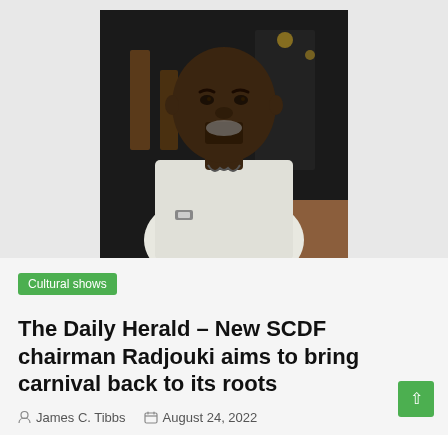[Figure (photo): Portrait photo of a heavyset man wearing a white short-sleeve shirt, with glasses hanging from the collar, seated at a table in a dimly lit restaurant or bar setting.]
Cultural shows
The Daily Herald – New SCDF chairman Radjouki aims to bring carnival back to its roots
James C. Tibbs    August 24, 2022